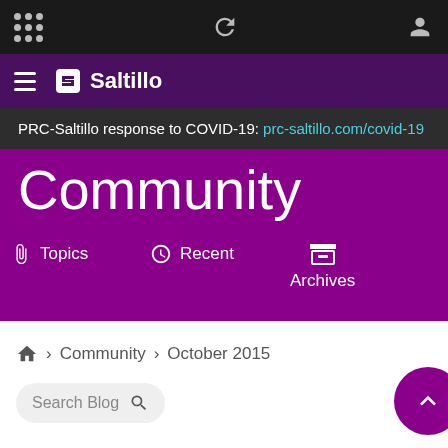Saltillo navigation toolbar
Saltillo brand navigation bar
PRC-Saltillo response to COVID-19: prc-saltillo.com/covid-19
Community
Topics
Recent
Archives
Home > Community > October 2015
Search Blog